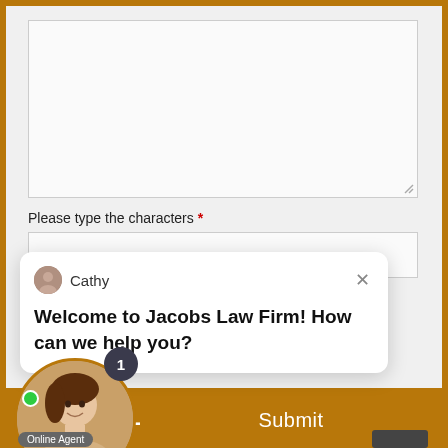[Figure (screenshot): A web form screenshot showing a textarea input box at the top, a 'Please type the characters' captcha label with red asterisk, an input field, a live chat popup bubble from agent 'Cathy' saying 'Welcome to Jacobs Law Firm! How can we help you?', a Submit button in brown/amber color, an agent photo circle with green online dot and notification badge showing '1', an 'Online Agent' badge, and a 'LIVE CHAT' footer bar in amber/brown color with chat icon.]